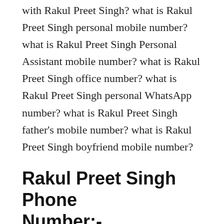with Rakul Preet Singh? what is Rakul Preet Singh personal mobile number? what is Rakul Preet Singh Personal Assistant mobile number? what is Rakul Preet Singh office number? what is Rakul Preet Singh personal WhatsApp number? what is Rakul Preet Singh father's mobile number? what is Rakul Preet Singh boyfriend mobile number?
Rakul Preet Singh Phone Number:-
Rakul Preet Singh age, Rakul Preet Singh movies, Rakul Preet Singh height, Rakul Preet Singh husband name, Rakul Preet Singh height in feet, Rakul Preet Singh first movie, Rakul Preet Singh birthday, Rakul Preet Singh husband, Rakul Preet Singh biography